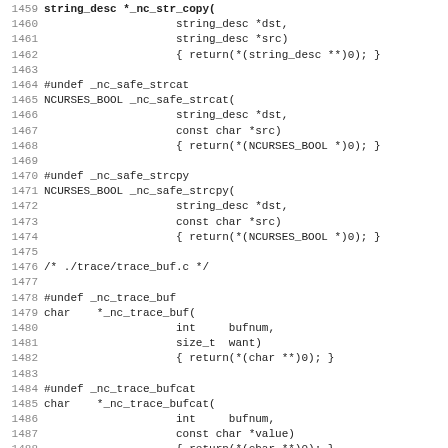[Figure (screenshot): Source code listing showing C function stubs for ncurses library, lines 1459-1491, including _nc_str_copy, _nc_safe_strcat, _nc_safe_strcpy, _nc_trace_buf, _nc_trace_bufcat functions and file comments.]